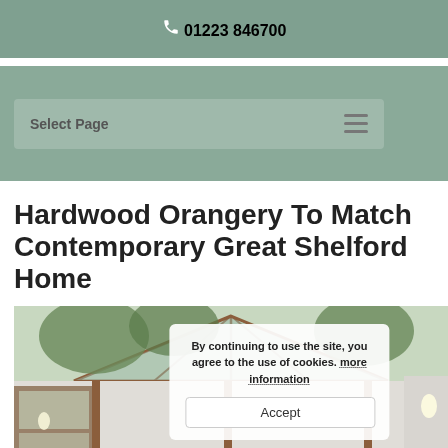📞 01223 846700
Select Page
Hardwood Orangery To Match Contemporary Great Shelford Home
[Figure (photo): Interior photo of a hardwood orangery with large glass roof panels and wooden frames, with a cookie consent overlay popup]
By continuing to use the site, you agree to the use of cookies. more information
Accept